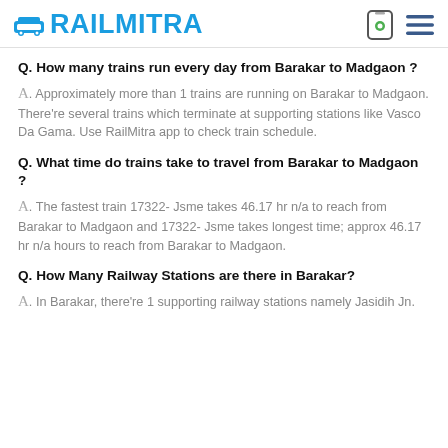RAILMITRA
Q. How many trains run every day from Barakar to Madgaon ?
A. Approximately more than 1 trains are running on Barakar to Madgaon. There're several trains which terminate at supporting stations like Vasco Da Gama. Use RailMitra app to check train schedule.
Q. What time do trains take to travel from Barakar to Madgaon ?
A. The fastest train 17322- Jsme takes 46.17 hr n/a to reach from Barakar to Madgaon and 17322- Jsme takes longest time; approx 46.17 hr n/a hours to reach from Barakar to Madgaon.
Q. How Many Railway Stations are there in Barakar?
A. In Barakar, there're 1 supporting railway stations namely Jasidih Jn.